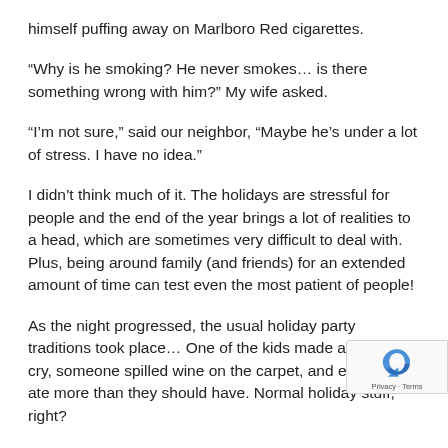himself puffing away on Marlboro Red cigarettes.
“Why is he smoking? He never smokes… is there something wrong with him?” My wife asked.
“I’m not sure,” said our neighbor, “Maybe he’s under a lot of stress. I have no idea.”
I didn’t think much of it. The holidays are stressful for people and the end of the year brings a lot of realities to a head, which are sometimes very difficult to deal with. Plus, being around family (and friends) for an extended amount of time can test even the most patient of people!
As the night progressed, the usual holiday party traditions took place… One of the kids made another kid cry, someone spilled wine on the carpet, and everyone ate more than they should have. Normal holiday stuff, right?
Later on in the evening, I went outside to talk with P… wouldn’t call him a close friend, but I know enough about